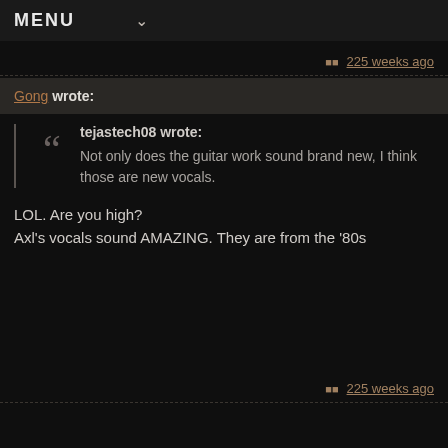MENU ✓
225 weeks ago
Gong wrote:
tejastech08 wrote: Not only does the guitar work sound brand new, I think those are new vocals.
LOL. Are you high?
Axl's vocals sound AMAZING. They are from the '80s
225 weeks ago